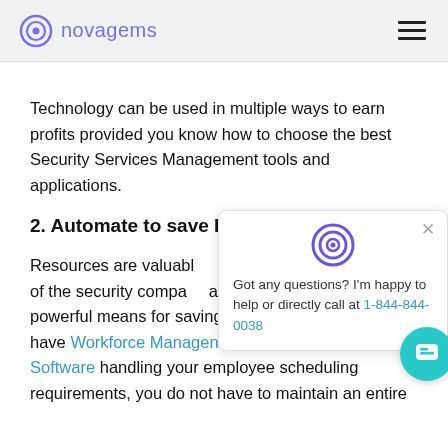novagems
Technology can be used in multiple ways to earn profits provided you know how to choose the best Security Services Management tools and applications.
2. Automate to save Resources
Resources are valuable... resources can help yo... of the security compa... automation is the most powerful means for saving resources. When you have Workforce Management Software handling your employee scheduling requirements, you do not have to maintain an entire
[Figure (screenshot): Chat popup widget with novagems logo icon, close button, text 'Got any questions? I’m happy to help or directly call at 1-844-844-0038', and a teal chat button in the bottom right corner.]